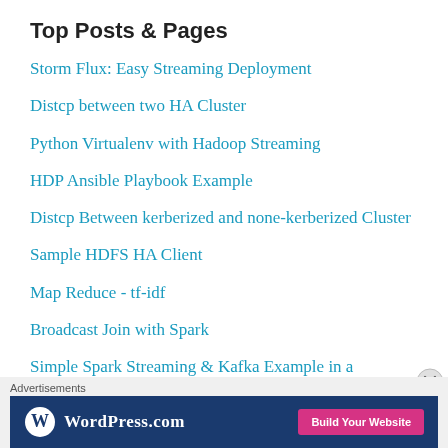Top Posts & Pages
Storm Flux: Easy Streaming Deployment
Distcp between two HA Cluster
Python Virtualenv with Hadoop Streaming
HDP Ansible Playbook Example
Distcp Between kerberized and none-kerberized Cluster
Sample HDFS HA Client
Map Reduce - tf-idf
Broadcast Join with Spark
Simple Spark Streaming & Kafka Example in a Zeppelin Notebook
Kerberized Hadoop Cluster - A Sandbox Example
Advertisements
[Figure (screenshot): WordPress.com advertisement banner with logo and 'Build Your Website' button]